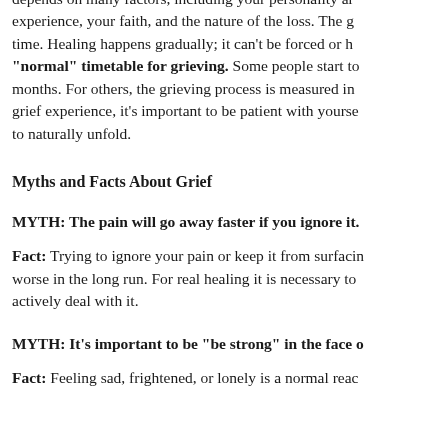depends on many factors, including your personality and experience, your faith, and the nature of the loss. The grieving process takes time. Healing happens gradually; it can't be forced or hurried — and there is no "normal" timetable for grieving. Some people start to feel better in weeks or months. For others, the grieving process is measured in years. Whatever your grief experience, it's important to be patient with yourself and allow the process to naturally unfold.
Myths and Facts About Grief
MYTH: The pain will go away faster if you ignore it.
Fact: Trying to ignore your pain or keep it from surfacing will only make it worse in the long run. For real healing it is necessary to actively deal with it.
MYTH: It's important to be "be strong" in the face of loss.
Fact: Feeling sad, frightened, or lonely is a normal reaction to loss.